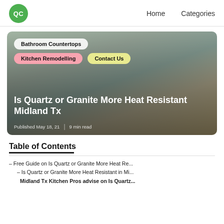QC | Home | Categories
[Figure (photo): Hero image of kitchen countertop (quartz/granite) with categories tags overlaid: Bathroom Countertops, Kitchen Remodelling, Contact Us. Title text: Is Quartz or Granite More Heat Resistant Midland Tx. Published May 18, 21 | 9 min read]
Table of Contents
– Free Guide on Is Quartz or Granite More Heat Re...
– Is Quartz or Granite More Heat Resistant in Mi...
Midland Tx Kitchen Pros advise on Is Quartz...